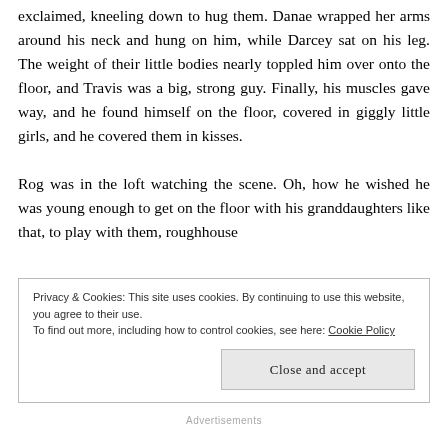exclaimed, kneeling down to hug them. Danae wrapped her arms around his neck and hung on him, while Darcey sat on his leg. The weight of their little bodies nearly toppled him over onto the floor, and Travis was a big, strong guy. Finally, his muscles gave way, and he found himself on the floor, covered in giggly little girls, and he covered them in kisses.

Rog was in the loft watching the scene. Oh, how he wished he was young enough to get on the floor with his granddaughters like that, to play with them, roughhouse
Privacy & Cookies: This site uses cookies. By continuing to use this website, you agree to their use.
To find out more, including how to control cookies, see here: Cookie Policy
Close and accept
Advertisements